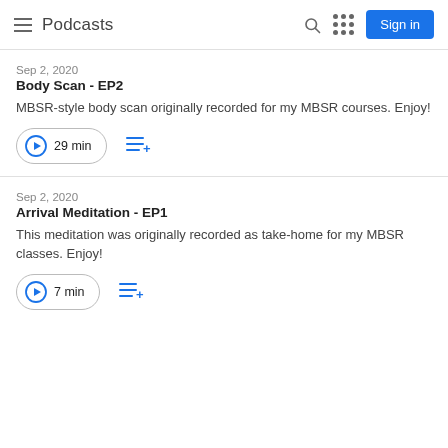Podcasts
Sep 2, 2020
Body Scan - EP2
MBSR-style body scan originally recorded for my MBSR courses. Enjoy!
29 min
Sep 2, 2020
Arrival Meditation - EP1
This meditation was originally recorded as take-home for my MBSR classes. Enjoy!
7 min